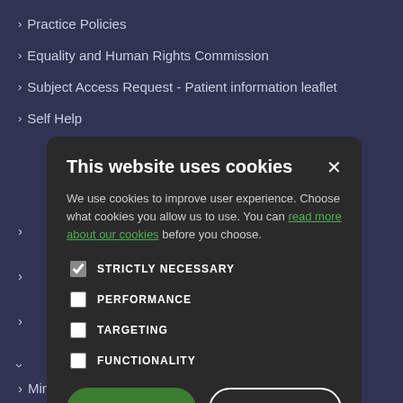> Practice Policies
> Equality and Human Rights Commission
> Subject Access Request - Patient information leaflet
> Self Help
[Figure (screenshot): Cookie consent modal dialog with title 'This website uses cookies', body text about cookies, checkboxes for Strictly Necessary (checked), Performance, Targeting, Functionality, and two buttons: Accept All (green) and Decline All (outlined).]
> Minor Illness